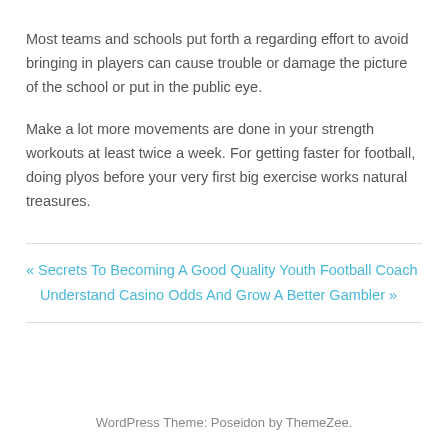Most teams and schools put forth a regarding effort to avoid bringing in players can cause trouble or damage the picture of the school or put in the public eye.
Make a lot more movements are done in your strength workouts at least twice a week. For getting faster for football, doing plyos before your very first big exercise works natural treasures.
« Secrets To Becoming A Good Quality Youth Football Coach
Understand Casino Odds And Grow A Better Gambler »
WordPress Theme: Poseidon by ThemeZee.